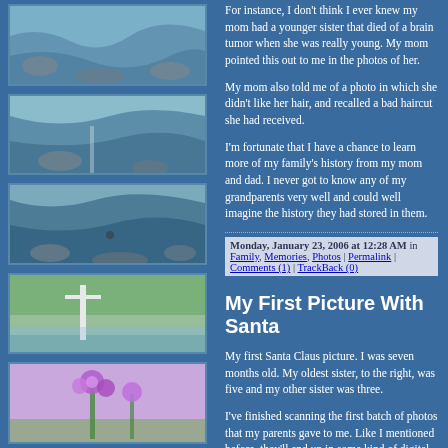[Figure (photo): Stream with rocks - photo 1]
[Figure (photo): Stream with rocks - photo 2]
[Figure (photo): Stream with rocks - photo 3]
[Figure (photo): Field with white post/fence]
[Figure (photo): Purple wildflowers]
For instance, I don't think I ever knew my mom had a younger sister that died of a brain tumor when she was really young. My mom pointed this out to me in the photos of her.
My mom also told me of a photo in which she didn't like her hair, and recalled a bad haircut she had received.
I'm fortunate that I have a chance to learn more of my family's history from my mom and dad. I never got to know any of my grandparents very well and could well imagine the history they had stored in them.
Monday, January 23, 2006 at 12:28 AM in Family, Memories, Photos | Permalink | Comments (1) | TrackBack (0)
My First Picture With Santa
My first Santa Claus picture. I was seven months old. My oldest sister, to the right, was five and my other sister was three.
I've finished scanning the first batch of photos that my parents gave to me. Like I mentioned before, they'll end up in some kind of digital scrapbook. I may form regular scrapbooks for these photos as well.
Looking at the old photos (pictures of my parents dating, my dad as a 5-year old in 1945 outside his house in St. Paul, my sisters' when they were young) even just the few that I have so far, makes me wonder what life was like for my family (and me) so many years ago.